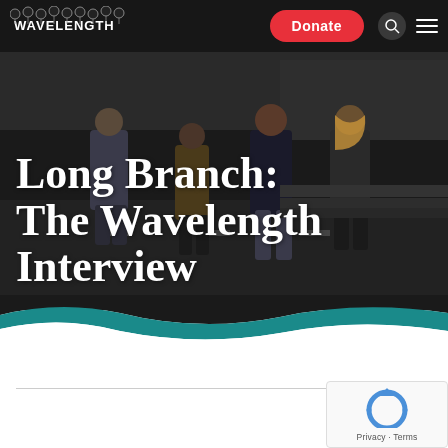[Figure (photo): Dark nighttime photo of four people standing outdoors, with dimly lit background. Website screenshot showing Wavelength music publication.]
Wavelength — Donate — [search icon] — [menu]
Long Branch: The Wavelength Interview
Privacy · Terms